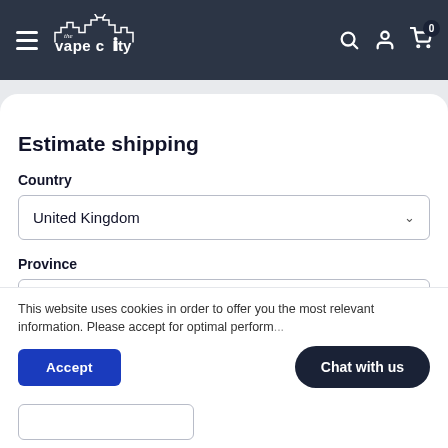[Figure (logo): The Vape City logo with stylized cityscape silhouette in white on dark background]
Estimate shipping
Country
United Kingdom
Province
British C...
This website uses cookies in order to offer you the most relevant information. Please accept for optimal performance.
Accept
Chat with us